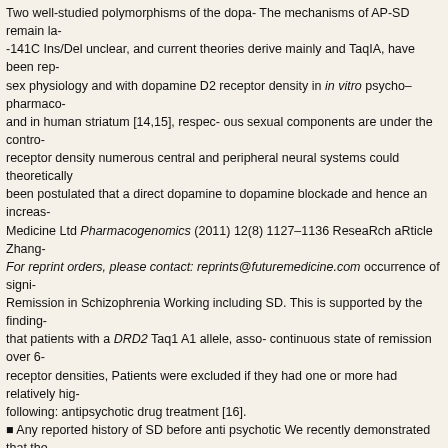Two well-studied polymorphisms of the dopa- The mechanisms of AP-SD remain la- -141C Ins/Del unclear, and current theories derive mainly and TaqIA, have been rep- sex physiology and with dopamine D2 receptor density in in vitro psycho–pharmaco- and in human striatum [14,15], respec- ous sexual components are under the contro- receptor density numerous central and peripheral neural systems could theoretically been postulated that a direct dopamine to dopamine blockade and hence an increas- Medicine Ltd Pharmacogenomics (2011) 12(8) 1127–1136 ReseaRch aRticle Zhang- For reprint orders, please contact: reprints@futuremedicine.com occurrence of signi- Remission in Schizophrenia Working including SD. This is supported by the finding- that patients with a DRD2 Taq1 A1 allele, asso- continuous state of remission over 6- receptor densities, Patients were excluded if they had one or more had relatively hig- following: antipsychotic drug treatment [16]. ▪ Any reported history of SD before anti psychotic We recently demonstrated that the- oxide synthase (NOS) isoforms are differentially affected by ▪ A general medical con- treatment in rat penile surgical procedure known to cause SD, for tissues, indicating- prostatectomy, diabetes, hypertension involving nitric oxide activity might also be or- pathogenesis of sexual side ▪ Any other side effect of antipsychotics, for effects [17]- tardive dyskinesia, which might polymorphism was the first SNP shown to be indirec- associated with an increased risk of erectile dys- function (ED) in two different racial- polymorphism, a Receiving other psychotropic drugs known to functional promoter S- example antidepressants, an increased risk of developing coronary artery although- [21,22], which might also be relevant to medications, such as anticholinergics and th- benzodiazepines, were not excluded; The paucity of reports exploring the ▪ Any histo- pharmaco genetics of AP-SD has prompted us to investigate the possible associatio- potentially functional n Clinical features & sexual function SNPs in two strong candid-